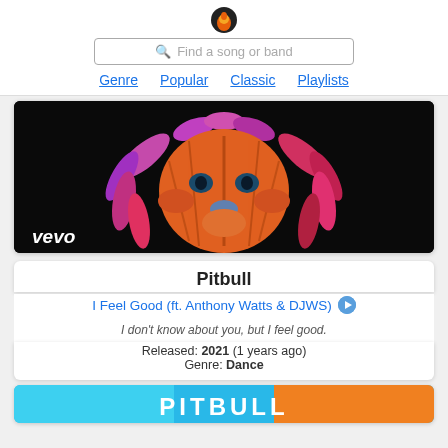Find a song or band — Genre | Popular | Classic | Playlists
[Figure (screenshot): Vevo music video thumbnail showing a colorful geometric lion illustration on a dark background with 'vevo' logo in lower left]
Pitbull
I Feel Good (ft. Anthony Watts & DJWS)
I don't know about you, but I feel good.
Released: 2021 (1 years ago)
Genre: Dance
[Figure (screenshot): Bottom portion of a Pitbull music video thumbnail with colorful background]